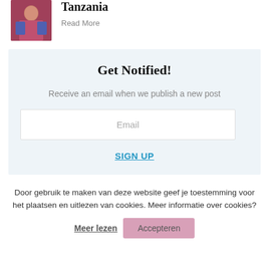[Figure (photo): Small thumbnail photo of a person in colorful clothing, appears to be in Tanzania]
Tanzania
Read More
Get Notified!
Receive an email when we publish a new post
Email
SIGN UP
Door gebruik te maken van deze website geef je toestemming voor het plaatsen en uitlezen van cookies. Meer informatie over cookies?
Meer lezen
Accepteren